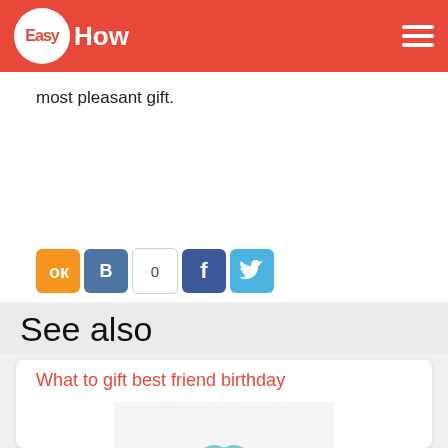EasyHow
most pleasant gift.
See also
What to gift best friend birthday
[Figure (photo): Person holding wrapped gift boxes with teal ribbon bows]